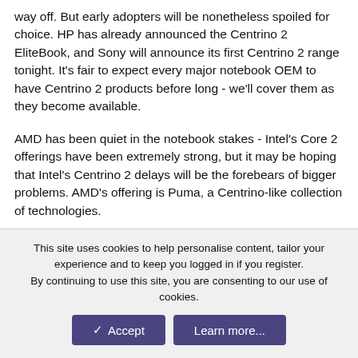way off. But early adopters will be nonetheless spoiled for choice. HP has already announced the Centrino 2 EliteBook, and Sony will announce its first Centrino 2 range tonight. It's fair to expect every major notebook OEM to have Centrino 2 products before long - we'll cover them as they become available.
AMD has been quiet in the notebook stakes - Intel's Core 2 offerings have been extremely strong, but it may be hoping that Intel's Centrino 2 delays will be the forebears of bigger problems. AMD's offering is Puma, a Centrino-like collection of technologies.
Its Turion processors offer similar TDPs to Penryn chips, such as the ZM-86, which has a clock speed of 2.4GHz and a TDP of 35W. AMD's great strength over Intel - potentially, at least - is the graphical know-how it acquired when it bought AMD in 2006.
This site uses cookies to help personalise content, tailor your experience and to keep you logged in if you register.
By continuing to use this site, you are consenting to our use of cookies.